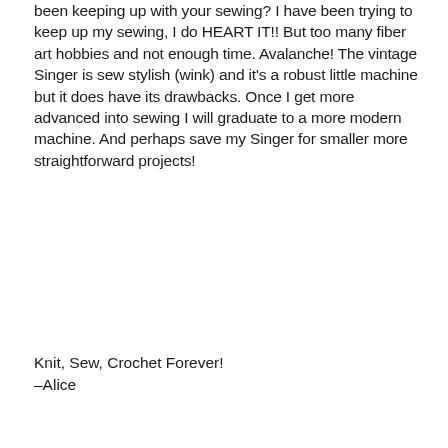been keeping up with your sewing? I have been trying to keep up my sewing, I do HEART IT!! But too many fiber art hobbies and not enough time. Avalanche! The vintage Singer is sew stylish (wink) and it's a robust little machine but it does have its drawbacks. Once I get more advanced into sewing I will graduate to a more modern machine. And perhaps save my Singer for smaller more straightforward projects!
Knit, Sew, Crochet Forever!
–Alice